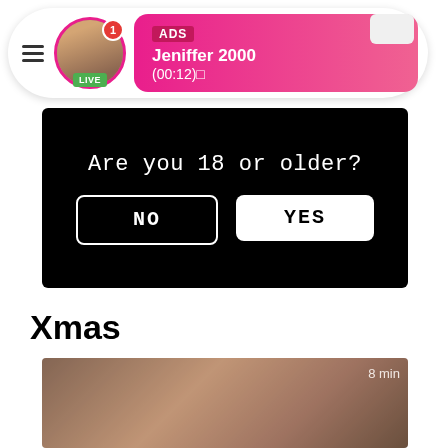[Figure (screenshot): Ad banner with profile photo, LIVE badge, ADS label, username Jeniffer 2000, timer (00:12)]
[Figure (screenshot): Age verification overlay on black background with text 'Are you 18 or older?' and NO / YES buttons]
Xmas
[Figure (screenshot): Video thumbnail showing blurred adult content with '8 min' duration label]